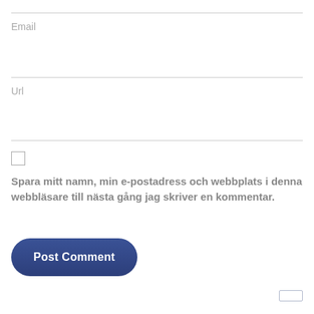Email
Url
Spara mitt namn, min e-postadress och webbplats i denna webbläsare till nästa gång jag skriver en kommentar.
Post Comment